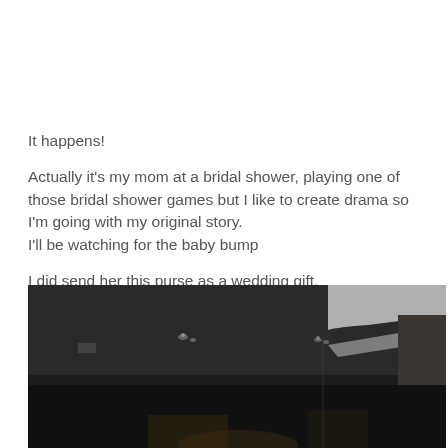It happens!
Actually it's my mom at a bridal shower, playing one of those bridal shower games but I like to create drama so I'm going with my original story.
I'll be watching for the baby bump
I did send her this purse as a wedding gift.
[Figure (photo): Dark indoor photo showing a dimly lit room ceiling with crown molding and recessed lights, very dark overall]